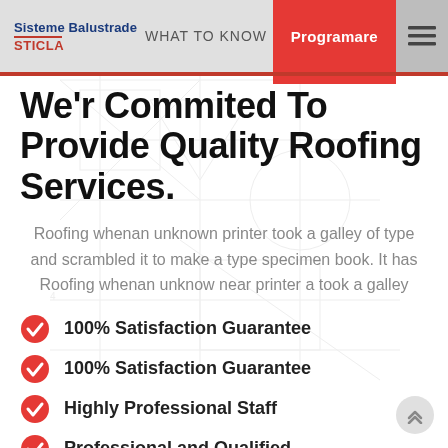Sisteme Balustrade STICLA | WHAT TO KNOW | Programare
We'r Commited To Provide Quality Roofing Services.
Roofing whenan unknown printer took a galley of type and scrambled it to make a type specimen book. It has Roofing whenan unknow near printer a took a galley
100% Satisfaction Guarantee
100% Satisfaction Guarantee
Highly Professional Staff
Professional and Qualified
Roofing whenan unknown printer took a galley of type and scrambled it to make a type specimen book. Roofing